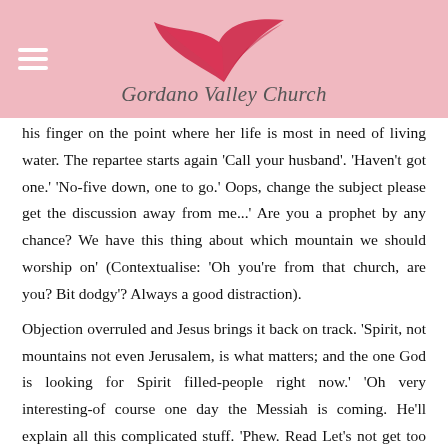Gordano Valley Church
his finger on the point where her life is most in need of living water. The repartee starts again 'Call your husband'. 'Haven't got one.' 'No-five down, one to go.' Oops, change the subject please get the discussion away from me...' Are you a prophet by any chance? We have this thing about which mountain we should worship on' (Contextualise: 'Oh you're from that church, are you? Bit dodgy'? Always a good distraction).
Objection overruled and Jesus brings it back on track. 'Spirit, not mountains not even Jerusalem, is what matters; and the one God is looking for Spirit filled-people right now.' 'Oh very interesting-of course one day the Messiah is coming. He'll explain all this complicated stuff. 'Phew. Read Let's not get too far into this stuff. Pause. No way off the hook. The tired